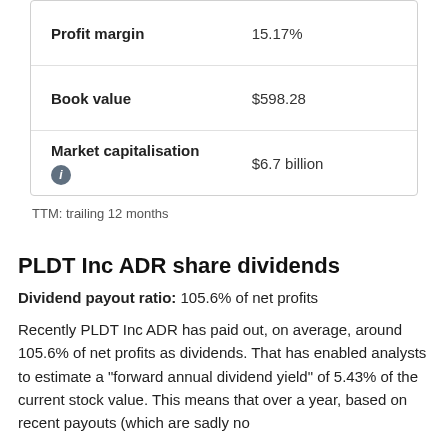| Metric | Value |
| --- | --- |
| Profit margin | 15.17% |
| Book value | $598.28 |
| Market capitalisation | $6.7 billion |
TTM: trailing 12 months
PLDT Inc ADR share dividends
Dividend payout ratio: 105.6% of net profits
Recently PLDT Inc ADR has paid out, on average, around 105.6% of net profits as dividends. That has enabled analysts to estimate a "forward annual dividend yield" of 5.43% of the current stock value. This means that over a year, based on recent payouts (which are sadly no